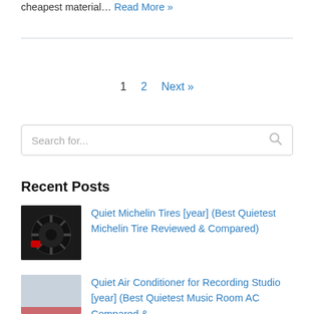cheapest material… Read More »
1  2  Next »
[Figure (screenshot): Search input box with placeholder text 'Search for...' and a search icon on the right]
Recent Posts
[Figure (photo): Dark car wheel/tire close-up photo with red brake caliper visible]
Quiet Michelin Tires [year] (Best Quietest Michelin Tire Reviewed & Compared)
[Figure (photo): Light gray/blue placeholder image with partial red element visible at bottom]
Quiet Air Conditioner for Recording Studio [year] (Best Quietest Music Room AC Compared &